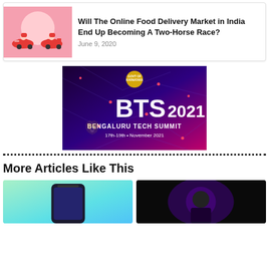[Figure (illustration): Article card with pink illustration of two delivery riders on scooters]
Will The Online Food Delivery Market in India End Up Becoming A Two-Horse Race?
June 9, 2020
[Figure (photo): BTS 2021 Bengaluru Tech Summit advertisement banner, 17th-19th November 2021, Govt of Karnataka]
More Articles Like This
[Figure (photo): Article thumbnail showing a smartphone on a teal/green gradient background]
[Figure (photo): Article thumbnail showing a person speaking on a dark background with purple light]